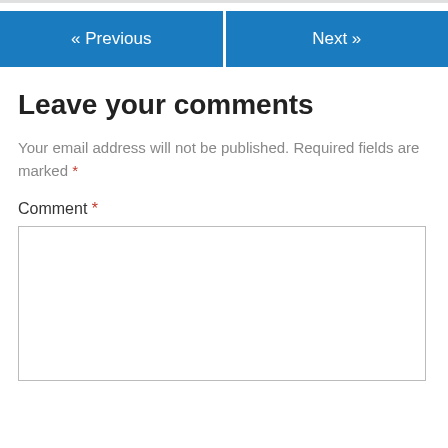[Figure (other): Navigation buttons row with '« Previous' (blue) on the left and 'Next »' (blue) on the right]
Leave your comments
Your email address will not be published. Required fields are marked *
Comment *